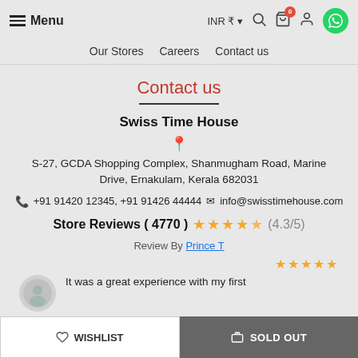Menu | INR ₹ | Our Stores | Careers | Contact us
Contact us
Swiss Time House
S-27, GCDA Shopping Complex, Shanmugham Road, Marine Drive, Ernakulam, Kerala 682031
+91 91420 12345, +91 91426 44444  info@swisstimehouse.com
Store Reviews ( 4770 ) ★★★★½ (4.3/5)
Review By Prince T
It was a great experience with my first
WISHLIST | SOLD OUT